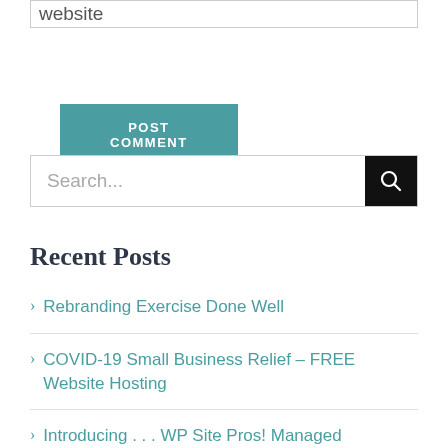website
POST COMMENT
Search...
Recent Posts
Rebranding Exercise Done Well
COVID-19 Small Business Relief – FREE Website Hosting
Introducing . . . WP Site Pros! Managed